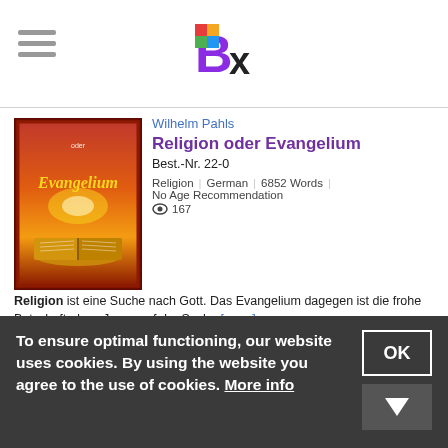Bx (logo)
[Figure (illustration): Book cover image for 'Religion oder Evangelium' showing orange/red sunset sky with open Bible, gold italic text 'Evangelium' on dark red background]
Wilhelm Pahls
Religion oder Evangelium
Best.-Nr. 22-0
Religion | German | 6852 Words | No Age Recommendation
👁 167
Religion ist eine Suche nach Gott. Das Evangelium dagegen ist die frohe Botschaft, dass Jesus auf der Suche [more]
Keywords: Religion, Evangelium, Bibel, Jesus, Christus, Gott, Sohn, Gottes, Buch, Lesen, Kirche, Gemeinde
For Free
To ensure optimal functioning, our website uses cookies. By using the website you agree to the use of cookies. More info